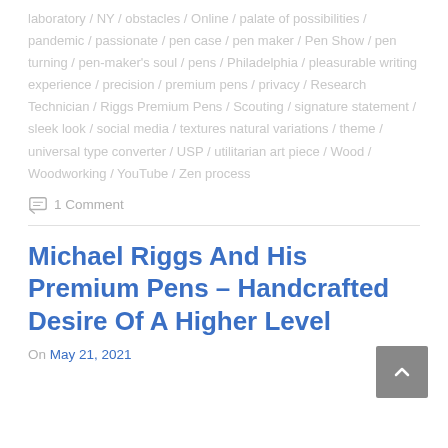laboratory / NY / obstacles / Online / palate of possibilities / pandemic / passionate / pen case / pen maker / Pen Show / pen turning / pen-maker's soul / pens / Philadelphia / pleasurable writing experience / precision / premium pens / privacy / Research Technician / Riggs Premium Pens / Scouting / signature statement / sleek look / social media / textures natural variations / theme / universal type converter / USP / utilitarian art piece / Wood / Woodworking / YouTube / Zen process
1 Comment
Michael Riggs And His Premium Pens – Handcrafted Desire Of A Higher Level
On May 21, 2021